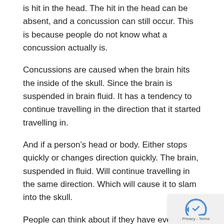is hit in the head. The hit in the head can be absent, and a concussion can still occur. This is because people do not know what a concussion actually is.
Concussions are caused when the brain hits the inside of the skull. Since the brain is suspended in brain fluid. It has a tendency to continue travelling in the direction that it started travelling in.
And if a person’s head or body. Either stops quickly or changes direction quickly. The brain, suspended in fluid. Will continue travelling in the same direction. Which will cause it to slam into the skull.
People can think about if they have ever been driving with a cup of coffee. If they slam on the brakes, the fluid in the coffee is going to continue to travel forward. Spilling coffee everywhere.